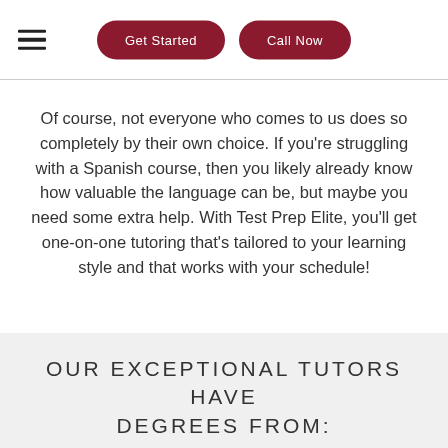Get Started | Call Now
Of course, not everyone who comes to us does so completely by their own choice. If you’re struggling with a Spanish course, then you likely already know how valuable the language can be, but maybe you need some extra help. With Test Prep Elite, you'll get one-on-one tutoring that's tailored to your learning style and that works with your schedule!
OUR EXCEPTIONAL TUTORS HAVE DEGREES FROM: